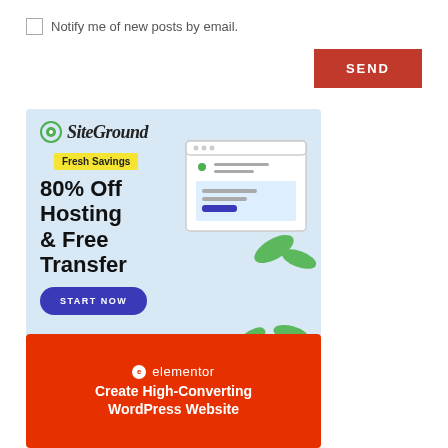Notify me of new posts by email.
SEND
[Figure (illustration): SiteGround advertisement: Fresh Savings 80% Off Hosting & Free Transfer, START NOW button, browser window illustration with lemons]
[Figure (illustration): Elementor advertisement: Create High-Converting WordPress Website]